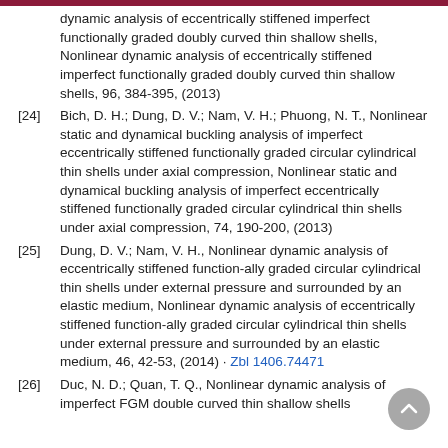[24] Bich, D. H.; Dung, D. V.; Nam, V. H.; Phuong, N. T., Nonlinear static and dynamical buckling analysis of imperfect eccentrically stiffened functionally graded circular cylindrical thin shells under axial compression, Nonlinear static and dynamical buckling analysis of imperfect eccentrically stiffened functionally graded circular cylindrical thin shells under axial compression, 74, 190-200, (2013)
[25] Dung, D. V.; Nam, V. H., Nonlinear dynamic analysis of eccentrically stiffened function-ally graded circular cylindrical thin shells under external pressure and surrounded by an elastic medium, Nonlinear dynamic analysis of eccentrically stiffened function-ally graded circular cylindrical thin shells under external pressure and surrounded by an elastic medium, 46, 42-53, (2014) · Zbl 1406.74471
[26] Duc, N. D.; Quan, T. Q., Nonlinear dynamic analysis of imperfect FGM double curved thin shallow shells